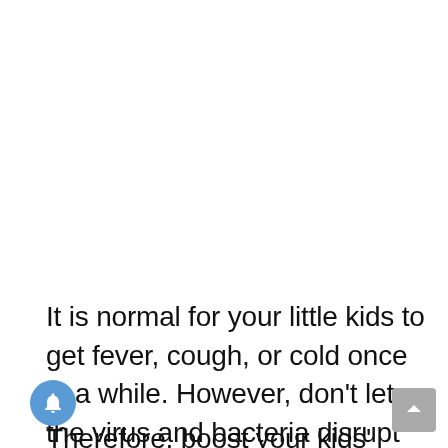It is normal for your little kids to get fever, cough, or cold once in a while. However, don't let the virus and bacteria disrupt their development.
Therefore, boost your kids' immune system